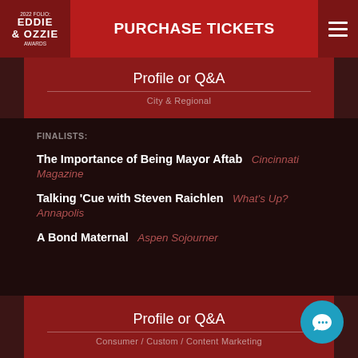2022 FOLIO EDDIE OZZIE AWARDS | PURCHASE TICKETS
Profile or Q&A
City & Regional
FINALISTS:
The Importance of Being Mayor Aftab   Cincinnati Magazine
Talking 'Cue with Steven Raichlen   What's Up? Annapolis
A Bond Maternal   Aspen Sojourner
Profile or Q&A
Consumer / Custom / Content Marketing
FINALISTS:
Listening in with...Seane Corn   Unity Magazine
Listening in with...Tami Simon   Unity Magazine